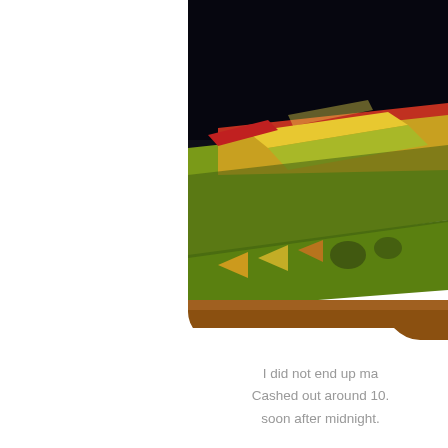[Figure (photo): A photograph partially visible on the right side of the page showing a decorated wooden box or game board with colorful geometric patterns (triangles, swirls) on a dark background. The upper portion is very dark/black. The box appears to have a brown wooden frame and colorful illustrated surface.]
I did not end up ma... Cashed out around 10... soon after midnight...